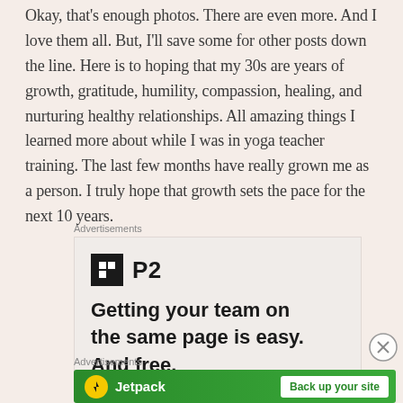Okay, that's enough photos. There are even more. And I love them all. But, I'll save some for other posts down the line. Here is to hoping that my 30s are years of growth, gratitude, humility, compassion, healing, and nurturing healthy relationships. All amazing things I learned more about while I was in yoga teacher training. The last few months have really grown me as a person. I truly hope that growth sets the pace for the next 10 years.
Advertisements
[Figure (other): P2 advertisement banner showing P2 logo (black square with H symbol) and text 'Getting your team on the same page is easy. And free.']
Advertisements
[Figure (other): Jetpack advertisement banner on green background with Jetpack logo and 'Back up your site' button]